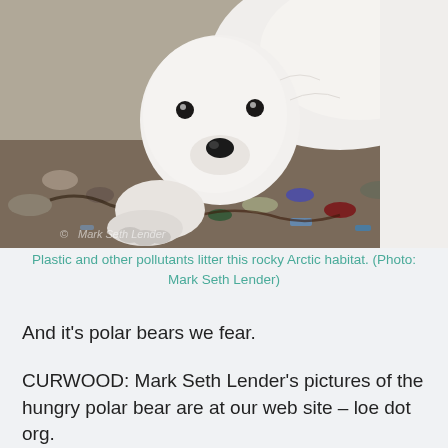[Figure (photo): A young polar bear cub standing on a rocky Arctic shoreline littered with plastic and other debris. The bear faces the camera with its front paws on the ground. The rocky ground is covered with colorful pieces of plastic, seaweed, and other pollutants. A watermark reading 'Mark Seth Lender' is visible at the bottom left.]
Plastic and other pollutants litter this rocky Arctic habitat. (Photo: Mark Seth Lender)
And it's polar bears we fear.
CURWOOD: Mark Seth Lender's pictures of the hungry polar bear are at our web site – loe dot org.